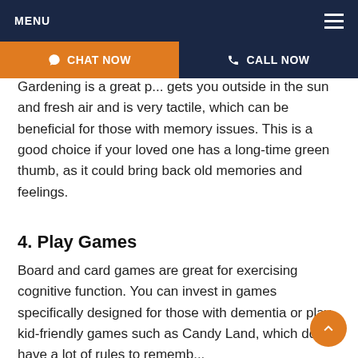MENU
3. Garden
Gardening is a great p... gets you outside in the sun and fresh air and is very tactile, which can be beneficial for those with memory issues. This is a good choice if your loved one has a long-time green thumb, as it could bring back old memories and feelings.
4. Play Games
Board and card games are great for exercising cognitive function. You can invest in games specifically designed for those with dementia or play kid-friendly games such as Candy Land, which don't have a lot of rules to rememb...